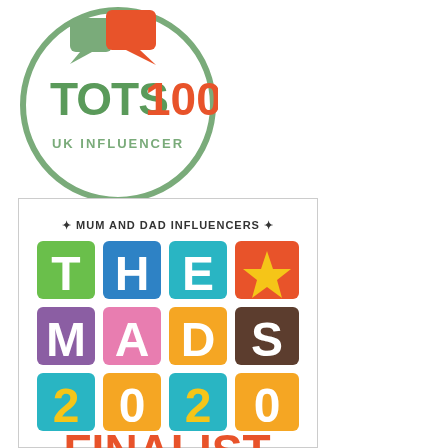[Figure (logo): TOTS100 UK Influencer circular badge logo with green circle border, green and red speech bubble icons, green TOTS and red 100 text, and UK INFLUENCER subtitle]
[Figure (logo): The MADs 2020 Finalist badge for Mum and Dad Influencers, featuring colorful letter blocks spelling THE MADS 2020 and FINALIST text in red]